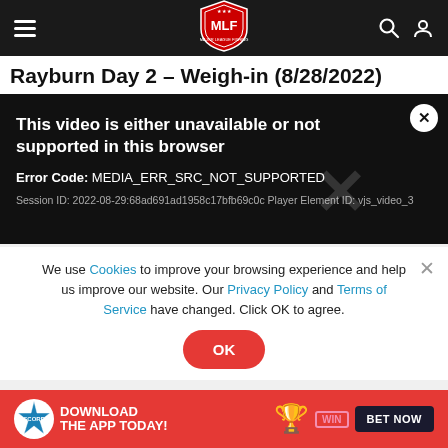MLF navigation bar with hamburger menu, MLF logo, search and user icons
Rayburn Day 2 – Weigh-in (8/28/2022)
[Figure (screenshot): Video player error screen on dark background reading: This video is either unavailable or not supported in this browser. Error Code: MEDIA_ERR_SRC_NOT_SUPPORTED. Session ID: 2022-08-29:68ad691ad1958c17bfb69c0c Player Element ID: vjs_video_3]
We use Cookies to improve your browsing experience and help us improve our website. Our Privacy Policy and Terms of Service have changed. Click OK to agree.
[Figure (infographic): Red advertisement banner: DOWNLOAD THE APP TODAY! with SCORE badge, trophy icon, WIN label, and BET NOW button]